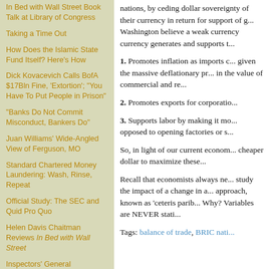In Bed with Wall Street Book Talk at Library of Congress
Taking a Time Out
How Does the Islamic State Fund Itself? Here's How
Dick Kovacevich Calls BofA $17Bln Fine, 'Extortion'; "You Have To Put People in Prison"
"Banks Do Not Commit Misconduct, Bankers Do"
Juan Williams' Wide-Angled View of Ferguson, MO
Standard Chartered Money Laundering: Wash, Rinse, Repeat
Official Study: The SEC and Quid Pro Quo
Helen Davis Chaitman Reviews In Bed with Wall Street
Inspectors' General
nations, by ceding dollar sovereignty of their currency in return for support of g... Washington believe a weak currency generates and supports t...
1. Promotes inflation as imports c... given the massive deflationary pr... in the value of commercial and re...
2. Promotes exports for corporati...
3. Supports labor by making it mo... opposed to opening factories or s...
So, in light of our current econom... cheaper dollar to maximize these...
Recall that economists always ne... study the impact of a change in a... approach, known as 'ceteris parib... Why? Variables are NEVER stati...
Tags: balance of trade, BRIC nati...